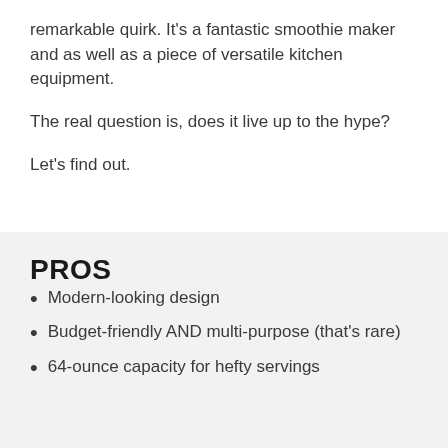remarkable quirk. It's a fantastic smoothie maker and as well as a piece of versatile kitchen equipment.
The real question is, does it live up to the hype?
Let's find out.
PROS
Modern-looking design
Budget-friendly AND multi-purpose (that's rare)
64-ounce capacity for hefty servings